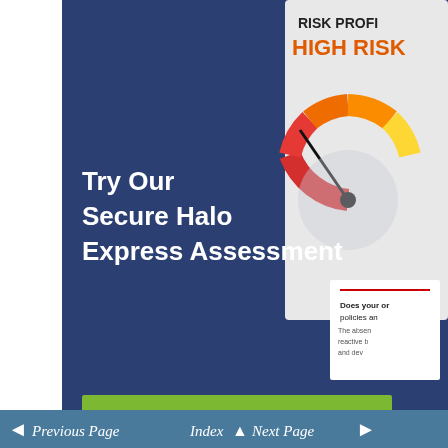[Figure (infographic): Advertisement banner with dark blue background showing 'Try Our Secure Halo Express Assessment' text and a risk gauge meter showing HIGH RISK in orange/red, with a green START NOW button]
[Figure (infographic): WGU advertisement showing a night sky background with a clock illustration and text 'I GOT MY DEGREE' in yellow/gold letters, with WGU owl logo in top right]
Previous Page  Index  Next Page